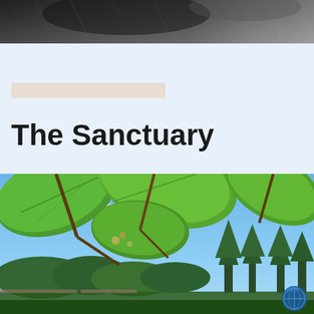[Figure (photo): Close-up photo of a horse's face/head from above, black and white tones, cropped at top of page]
The Sanctuary
[Figure (photo): Outdoor nature photo showing large green leaves in foreground with blue sky, contrail, and treeline of pine and deciduous trees in background. Small blue logo visible bottom right.]